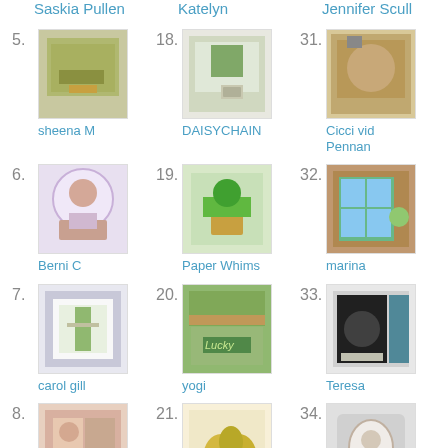Saskia Pullen
Katelyn
Jennifer Scull
5. sheena M
[Figure (photo): Craft card thumbnail for sheena M]
18. DAISYCHAIN
[Figure (photo): Craft card thumbnail for DAISYCHAIN]
31. Cicci vid Pennan
[Figure (photo): Craft card thumbnail for Cicci vid Pennan]
6. Berni C
[Figure (photo): Craft card thumbnail for Berni C]
19. Paper Whims
[Figure (photo): Craft card thumbnail for Paper Whims]
32. marina
[Figure (photo): Craft card thumbnail for marina]
7. carol gill
[Figure (photo): Craft card thumbnail for carol gill]
20. yogi
[Figure (photo): Craft card thumbnail for yogi]
33. Teresa
[Figure (photo): Craft card thumbnail for Teresa]
8.
[Figure (photo): Craft card thumbnail entry 8]
21.
[Figure (photo): Craft card thumbnail entry 21]
34.
[Figure (photo): Craft card thumbnail entry 34]